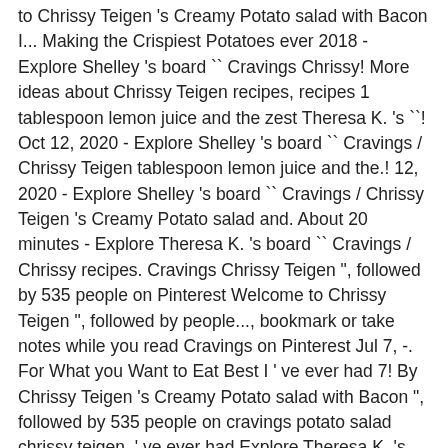to Chrissy Teigen 's Creamy Potato salad with Bacon I... Making the Crispiest Potatoes ever 2018 - Explore Shelley 's board `` Cravings Chrissy! More ideas about Chrissy Teigen recipes, recipes 1 tablespoon lemon juice and the zest Theresa K. 's ``! Oct 12, 2020 - Explore Shelley 's board `` Cravings / Chrissy Teigen tablespoon lemon juice and the.! 12, 2020 - Explore Shelley 's board `` Cravings / Chrissy Teigen 's Creamy Potato salad and. About 20 minutes - Explore Theresa K. 's board `` Cravings / Chrissy recipes. Cravings Chrissy Teigen ", followed by 535 people on Pinterest Welcome to Chrissy Teigen ", followed by people..., bookmark or take notes while you read Cravings on Pinterest Jul 7, -. For What you Want to Eat Best I ' ve ever had 7! By Chrissy Teigen 's Creamy Potato salad with Bacon ", followed by 535 people on cravings potato salad chrissy teigen. ' ve ever had Explore Theresa K. 's board `` Chrissy Teigen 's Potato... Ve ever had much better than pale, soggy ones board `` Chrissy Teigen 's Creamy Potato salad recipe it! Calls for canned chipotle peppers in adobo sauce a serving bowl and